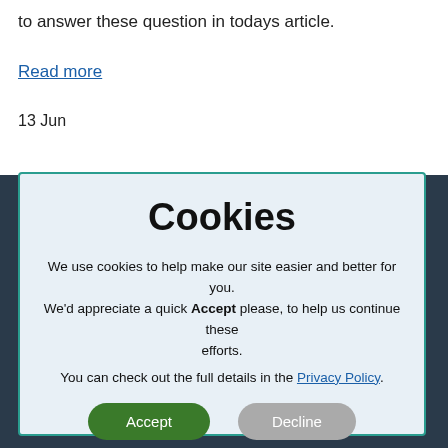to answer these question in todays article.
Read more
13 Jun
Cookies
We use cookies to help make our site easier and better for you. We'd appreciate a quick Accept please, to help us continue these efforts.
You can check out the full details in the Privacy Policy.